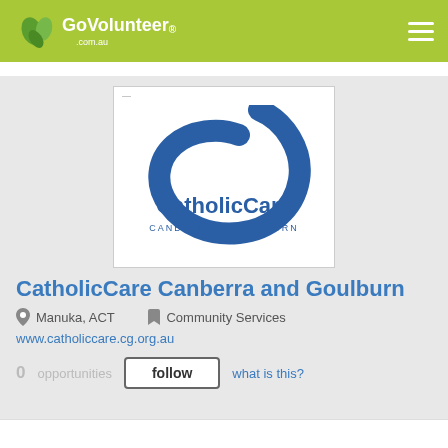GoVolunteer.com.au
[Figure (logo): CatholicCare Canberra & Goulburn logo — blue swoosh/C shape above text 'CatholicCare' in blue with 'CANBERRA & GOULBURN' below in smaller blue text]
CatholicCare Canberra and Goulburn
Manuka, ACT   Community Services
www.catholiccare.cg.org.au
0 opportunities  follow  what is this?